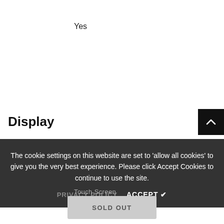Yes
Display
The cookie settings on this website are set to 'allow all cookies' to give you the very best experience. Please click Accept Cookies to continue to use the site.
PRIVACY POLICY   ACCEPT ✔
Touch Screen
SOLD OUT